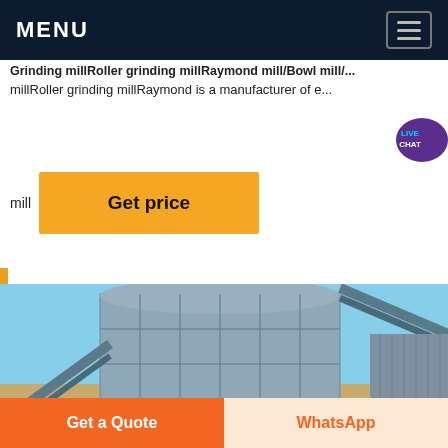MENU
millRoller grinding millRaymond is a manufacturer of e...
mill  Get price
[Figure (photo): Industrial crushing/grinding facility with a large rectangular metal building structure and conveyor belt systems against a blue sky background.]
Get a Quote  |  WhatsApp